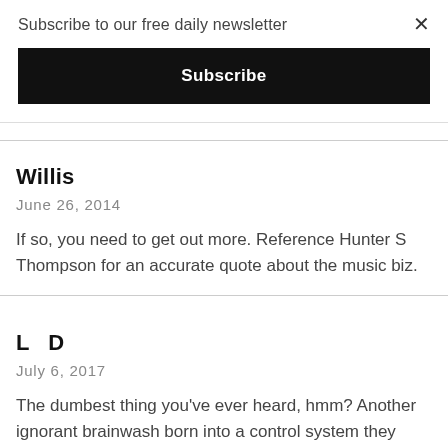Subscribe to our free daily newsletter
Subscribe
×
Willis
June 26, 2014
If so, you need to get out more. Reference Hunter S Thompson for an accurate quote about the music biz.
L  D
July 6, 2017
The dumbest thing you've ever heard, hmm? Another ignorant brainwash born into a control system they can't perceive. Read the lyrics of most bands and you